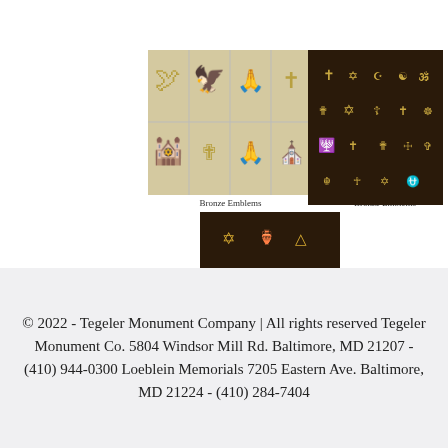[Figure (photo): Grid of bronze religious figurine emblems on white background]
Bronze Emblems
[Figure (photo): Three bronze figurine emblems standing upright on white background]
Bronze Emblems
[Figure (photo): Dark background collage of various religious symbols including crosses, Star of David, menorah, and other emblems]
[Figure (photo): Dark background showing Jewish and other religious emblems including menorah, Star of David, and other symbols]
© 2022 - Tegeler Monument Company | All rights reserved Tegeler Monument Co. 5804 Windsor Mill Rd. Baltimore, MD 21207 - (410) 944-0300 Loeblein Memorials 7205 Eastern Ave. Baltimore, MD 21224 - (410) 284-7404